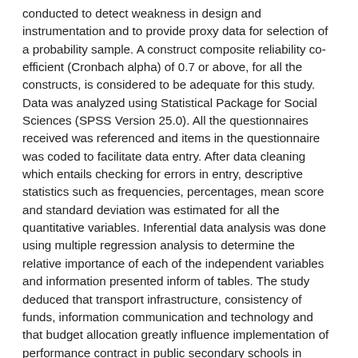conducted to detect weakness in design and instrumentation and to provide proxy data for selection of a probability sample. A construct composite reliability co-efficient (Cronbach alpha) of 0.7 or above, for all the constructs, is considered to be adequate for this study. Data was analyzed using Statistical Package for Social Sciences (SPSS Version 25.0). All the questionnaires received was referenced and items in the questionnaire was coded to facilitate data entry. After data cleaning which entails checking for errors in entry, descriptive statistics such as frequencies, percentages, mean score and standard deviation was estimated for all the quantitative variables. Inferential data analysis was done using multiple regression analysis to determine the relative importance of each of the independent variables and information presented inform of tables. The study deduced that transport infrastructure, consistency of funds, information communication and technology and that budget allocation greatly influence implementation of performance contract in public secondary schools in Igembe South Sub County, Meru County, Kenya. Moreover, it was revealed that stationery have a moderate influence on implementation of performance contract in public secondary schools in Igembe South Sub County, Meru County, Kenya. The study concluded that availability of resources had the greatest influence on implementation of performance contract in public secondary schools in Igembe South Sub